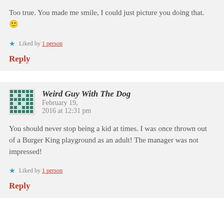Too true. You made me smile, I could just picture you doing that. 🙂
Liked by 1 person
Reply
Weird Guy With The Dog  February 19, 2016 at 12:31 pm
You should never stop being a kid at times. I was once thrown out of a Burger King playground as an adult! The manager was not impressed!
Liked by 1 person
Reply